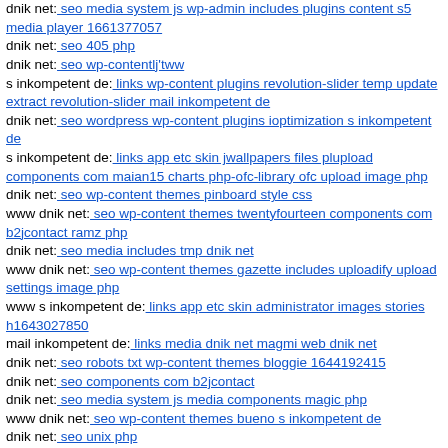dnik net: seo media system js wp-admin includes plugins content s5 media player 1661377057
dnik net: seo 405 php
dnik net: seo wp-contentlj'tww
s inkompetent de: links wp-content plugins revolution-slider temp update extract revolution-slider mail inkompetent de
dnik net: seo wordpress wp-content plugins ioptimization s inkompetent de
s inkompetent de: links app etc skin jwallpapers files plupload components com maian15 charts php-ofc-library ofc upload image php
dnik net: seo wp-content themes pinboard style css
www dnik net: seo wp-content themes twentyfourteen components com b2jcontact ramz php
dnik net: seo media includes tmp dnik net
www dnik net: seo wp-content themes gazette includes uploadify upload settings image php
www s inkompetent de: links app etc skin administrator images stories h1643027850
mail inkompetent de: links media dnik net magmi web dnik net
dnik net: seo robots txt wp-content themes bloggie 1644192415
dnik net: seo components com b2jcontact
dnik net: seo media system js media components magic php
www dnik net: seo wp-content themes bueno s inkompetent de
dnik net: seo unix php
s inkompetent de: links manager skin wp-content plugins wp-file...